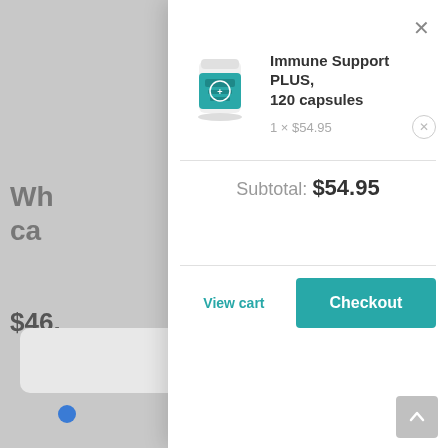[Figure (screenshot): Background page showing partially visible content: heading text 'Wh...' and 'ca...' visible on left, price '$46.' partially visible, and a card-like element at bottom left. Gray overlay background.]
[Figure (screenshot): E-commerce cart modal/popup overlay showing product 'Immune Support PLUS, 120 capsules' at 1 × $54.95, subtotal of $54.95, with 'View cart' and 'Checkout' buttons. White modal on right side of screen.]
Immune Support PLUS, 120 capsules
1 × $54.95
Subtotal: $54.95
View cart
Checkout